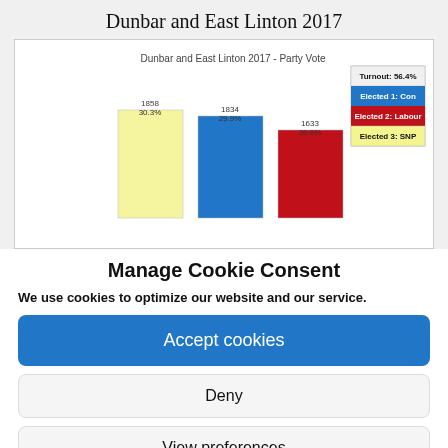Dunbar and East Linton 2017
[Figure (bar-chart): Dunbar and East Linton 2017 - Party Vote]
Manage Cookie Consent
We use cookies to optimize our website and our service.
Accept cookies
Deny
View preferences